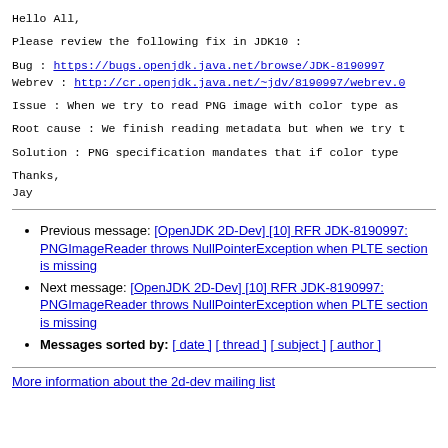Hello All,
Please review the following fix in JDK10 :
Bug : https://bugs.openjdk.java.net/browse/JDK-8190997
Webrev : http://cr.openjdk.java.net/~jdv/8190997/webrev.0
Issue : When we try to read PNG image with color type as
Root cause : We finish reading metadata but when we try t
Solution : PNG specification mandates that if color type
Thanks,
Jay
Previous message: [OpenJDK 2D-Dev] [10] RFR JDK-8190997: PNGImageReader throws NullPointerException when PLTE section is missing
Next message: [OpenJDK 2D-Dev] [10] RFR JDK-8190997: PNGImageReader throws NullPointerException when PLTE section is missing
Messages sorted by: [ date ] [ thread ] [ subject ] [ author ]
More information about the 2d-dev mailing list